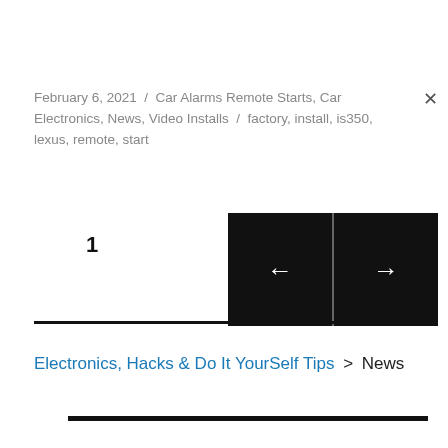February 6, 2021 / Car Alarms Remote Starts, Car Electronics, News, Video Installs / factory, install, is350, lexus, remote, start
[Figure (other): Slideshow navigation bar with page number '1' on the left and back/forward arrow buttons on the right against a black background]
Electronics, Hacks & Do It YourSelf Tips > News